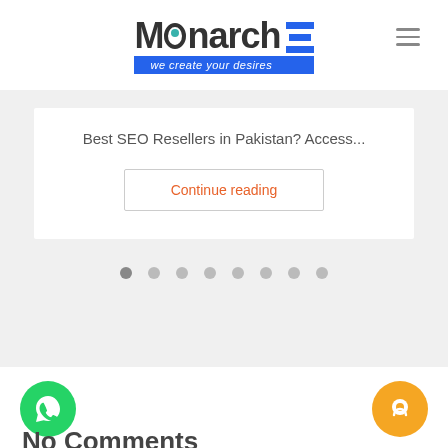[Figure (logo): Monarch logo with tagline 'we create your desires' and blue stacked bars icon]
Best SEO Resellers in Pakistan? Access...
Continue reading
[Figure (infographic): Carousel dot indicators, 8 dots with first one active]
[Figure (illustration): Green WhatsApp floating action button]
[Figure (illustration): Orange chat floating action button]
No Comments